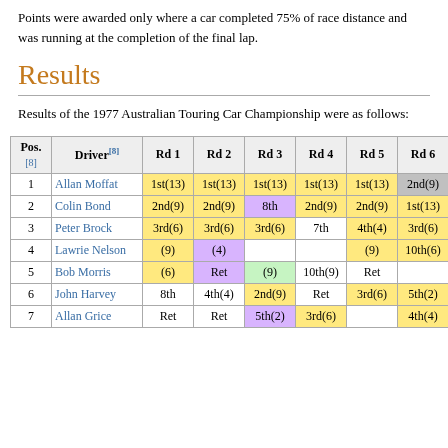Points were awarded only where a car completed 75% of race distance and was running at the completion of the final lap.
Results
Results of the 1977 Australian Touring Car Championship were as follows:
| Pos. | Driver[8] | Rd 1 | Rd 2 | Rd 3 | Rd 4 | Rd 5 | Rd 6 | Rd 7 |
| --- | --- | --- | --- | --- | --- | --- | --- | --- |
| 1 | Allan Moffat | 1st(13) | 1st(13) | 1st(13) | 1st(13) | 1st(13) | 2nd(9) | Ret |
| 2 | Colin Bond | 2nd(9) | 2nd(9) | 8th | 2nd(9) | 2nd(9) | 1st(13) | 2nd(9) |
| 3 | Peter Brock | 3rd(6) | 3rd(6) | 3rd(6) | 7th | 4th(4) | 3rd(6) | 1st(13) |
| 4 | Lawrie Nelson | (9) | (4) |  |  | (9) | 10th(6) |  |
| 5 | Bob Morris | (6) | Ret | (9) | 10th(9) | Ret |  | (9) |
| 6 | John Harvey | 8th | 4th(4) | 2nd(9) | Ret | 3rd(6) | 5th(2) | 3rd(6) |
| 7 | Allan Grice | Ret | Ret | 5th(2) | 3rd(6) |  | 4th(4) |  |